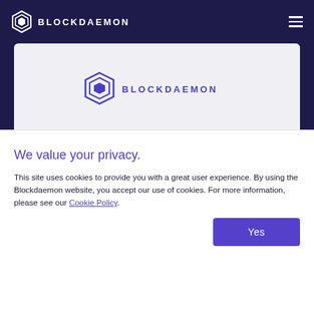BLOCKDAEMON
[Figure (logo): Blockdaemon logo with geometric fox-like icon and BLOCKDAEMON wordmark in purple, centered in a light gray card]
We value your privacy.
This site uses cookies to provide you with a great user experience. By using the Blockdaemon website, you accept our use of cookies. For more information, please see our Cookie Policy.
Yes